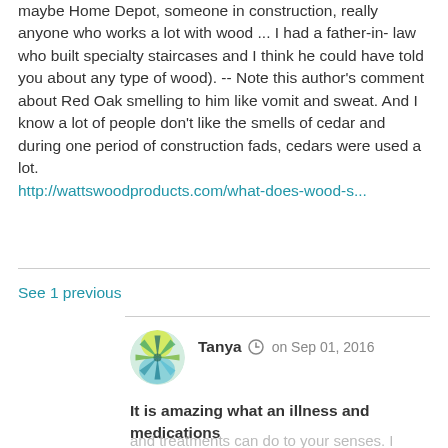maybe Home Depot, someone in construction, really anyone who works a lot with wood ... I had a father-in-law who built specialty staircases and I think he could have told you about any type of wood). -- Note this author's comment about Red Oak smelling to him like vomit and sweat. And I know a lot of people don't like the smells of cedar and during one period of construction fads, cedars were used a lot.
http://wattswoodproducts.com/what-does-wood-s...
See 1 previous
[Figure (illustration): Avatar of user Tanya — circular icon with a colorful starburst/pinwheel design in green, yellow, and blue tones]
Tanya  on Sep 01, 2016
It is amazing what an illness and medications and treatments can do to your senses. I hope your treatments have left you cancer free.